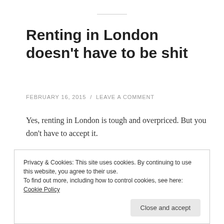Renting in London doesn't have to be shit
FEBRUARY 16, 2015 / LEAVE A COMMENT
Yes, renting in London is tough and overpriced. But you don't have to accept it.
Looking for somewhere to live in London is fucking depressing. Online searches, courtesy of Zoopla, Right
Privacy & Cookies: This site uses cookies. By continuing to use this website, you agree to their use.
To find out more, including how to control cookies, see here: Cookie Policy